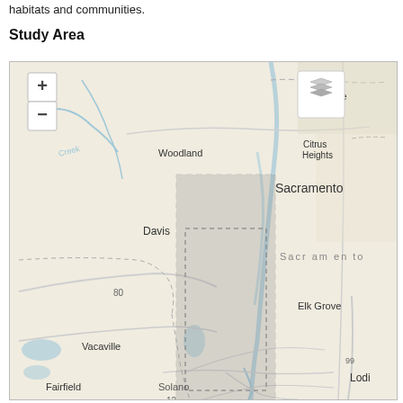habitats and communities.
Study Area
[Figure (map): Interactive map showing the study area around Sacramento, California, including cities such as Woodland, Davis, Vacaville, Fairfield, Sacramento, Citrus Heights, Roseville, Elk Grove, Solano, and Lodi. A gray shaded rectangle indicates the study area boundary along the Sacramento River corridor. Map has zoom controls (+/-) and a layer toggle button.]